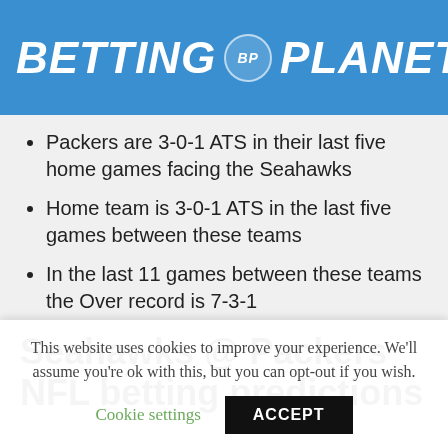BETTING BP PLANET
Packers are 3-0-1 ATS in their last five home games facing the Seahawks
Home team is 3-0-1 ATS in the last five games between these teams
In the last 11 games between these teams the Over record is 7-3-1
Seahawks @ Packers NFL betting predictions
This website uses cookies to improve your experience. We'll assume you're ok with this, but you can opt-out if you wish.
Cookie settings  ACCEPT